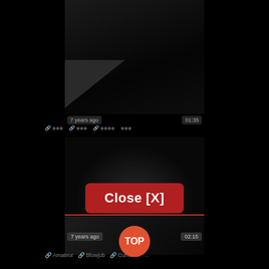[Figure (screenshot): Dark video thumbnail with dark background, showing obscured subject, with '7 years ago' and '01:35' overlays and icon row beneath]
[Figure (screenshot): Dark video thumbnail second section with dim background]
Close [X]
[Figure (screenshot): Bottom video thumbnail strip with '7 years ago' and '02:15' overlays and 'TOP' circular button overlay]
TOP
🔗 Amateur   🔗 Blowjob   🔗 Cumshot   ...